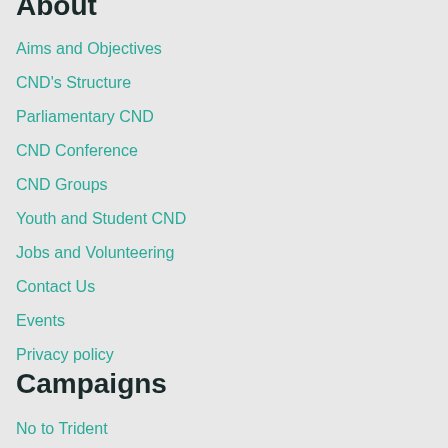About
Aims and Objectives
CND's Structure
Parliamentary CND
CND Conference
CND Groups
Youth and Student CND
Jobs and Volunteering
Contact Us
Events
Privacy policy
Campaigns
No to Trident